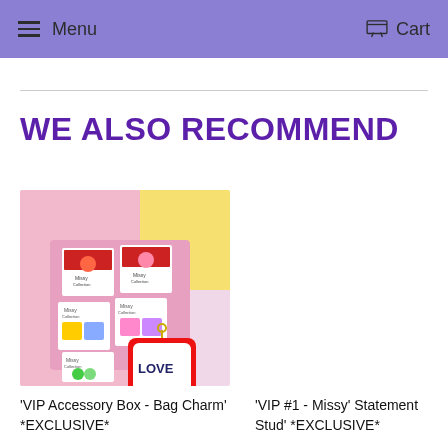Menu  Cart
WE ALSO RECOMMEND
[Figure (photo): Product photo of VIP Accessory Box - Bag Charm items including earrings and a red heart-shaped LOVE keychain displayed in a pink box with colorful background]
'VIP Accessory Box - Bag Charm' *EXCLUSIVE*
'VIP #1 - Missy' Statement Stud' *EXCLUSIVE*